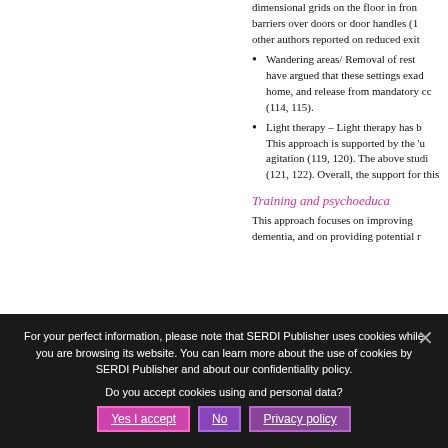Wandering areas/ Removal of restra... have argued that these settings exac... home, and release from mandatory co... (114, 115).
Light therapy – Light therapy has b... This approach is supported by the 'u... agitation (119, 120). The above studi... (121, 122). Overall, the support for this...
Training and psychoeduca...
This approach focuses on improving... dementia, and on providing potential...
For your perfect information, please note that SERDI Publisher uses cookies while you are browsing its website. You can learn more about the use of cookies by SERDI Publisher and about our confidentiality policy. Do you accept cookies using and personal data?